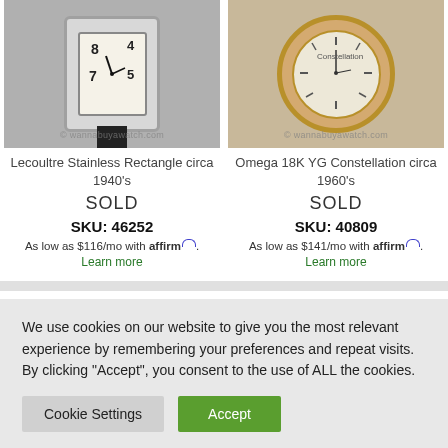[Figure (photo): Photo of Lecoultre Stainless Rectangle watch circa 1940s with black strap and watermark © wannabuyawatch.com]
Lecoultre Stainless Rectangle circa 1940's
SOLD
SKU: 46252
As low as $116/mo with affirm. Learn more
[Figure (photo): Photo of Omega 18K YG Constellation watch circa 1960s with brown crocodile strap and watermark © wannabuyawatch.com]
Omega 18K YG Constellation circa 1960's
SOLD
SKU: 40809
As low as $141/mo with affirm. Learn more
We use cookies on our website to give you the most relevant experience by remembering your preferences and repeat visits. By clicking “Accept”, you consent to the use of ALL the cookies.